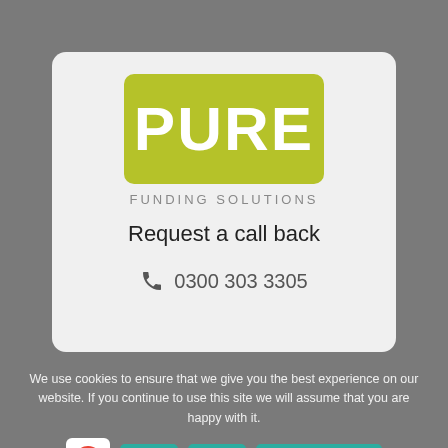[Figure (logo): Pure Funding Solutions logo — olive/yellow-green rectangle with white bold text PURE, and grey text FUNDING SOLUTIONS below]
Request a call back
0300 303 3305
We use cookies to ensure that we give you the best experience on our website. If you continue to use this site we will assume that you are happy with it.
Ok
No
Privacy policy